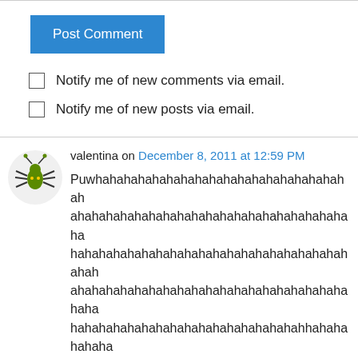[Figure (other): Post Comment button - blue rectangle with white text]
Notify me of new comments via email.
Notify me of new posts via email.
valentina on December 8, 2011 at 12:59 PM
Puwhahahahahahahahahahahahahahahahahahahahahahahahahahahahahahahahahahahahahahahahahahahahahahahahahahahahahahahahahahahahahahahahahahahahahahahahahahahahahahahahahahahahahahahahahahahahahahahahahahahahahahahahahahahahahahahahahahahahahahahahah…..hahahahahahahahahahahahahahahahahahahahahahahahahahahahahahaha